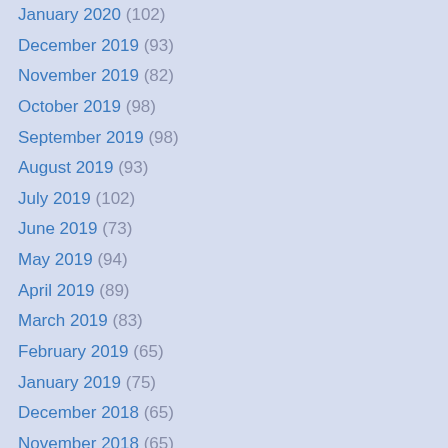January 2020 (102)
December 2019 (93)
November 2019 (82)
October 2019 (98)
September 2019 (98)
August 2019 (93)
July 2019 (102)
June 2019 (73)
May 2019 (94)
April 2019 (89)
March 2019 (83)
February 2019 (65)
January 2019 (75)
December 2018 (65)
November 2018 (65)
October 2018 (78)
September 2018 (62)
August 2018 (22)
July 2018 (51)
June 2018 (68)